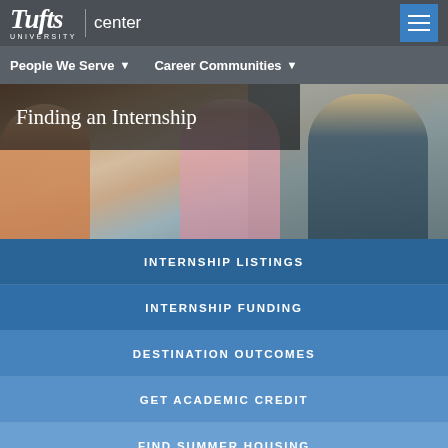[Figure (screenshot): Tufts University Career Center website header with logo showing 'Tufts UNIVERSITY | center' on dark gray background with hamburger menu icon]
People We Serve ▾   Career Communities ▾
[Figure (photo): Hero image showing people in a professional setting shaking hands around a table, with overlay text 'Finding an Internship']
Finding an Internship
INTERNSHIP LISTINGS
INTERNSHIP FUNDING
DESTINATION OUTCOMES
GET ACADEMIC CREDIT
FIND SUMMER HOUSING
Learn more about finding internships